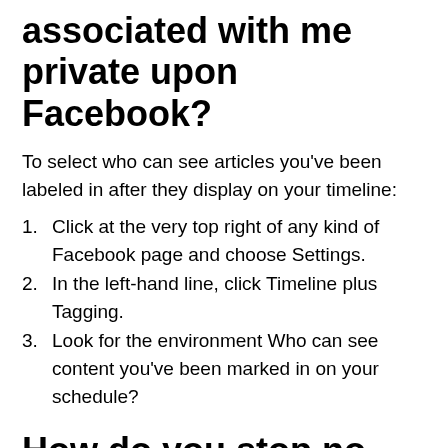associated with me private upon Facebook?
To select who can see articles you've been labeled in after they display on your timeline:
1. Click at the very top right of any kind of Facebook page and choose Settings.
2. In the left-hand line, click Timeline plus Tagging.
3. Look for the environment Who can see content you've been marked in on your schedule?
How do you stop no friends